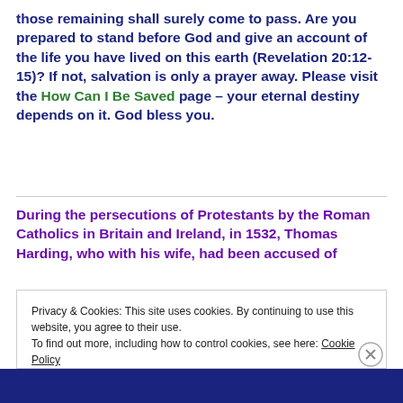those remaining shall surely come to pass. Are you prepared to stand before God and give an account of the life you have lived on this earth (Revelation 20:12-15)? If not, salvation is only a prayer away. Please visit the How Can I Be Saved page – your eternal destiny depends on it. God bless you.
During the persecutions of Protestants by the Roman Catholics in Britain and Ireland, in 1532, Thomas Harding, who with his wife, had been accused of
Privacy & Cookies: This site uses cookies. By continuing to use this website, you agree to their use.
To find out more, including how to control cookies, see here: Cookie Policy
Close and accept